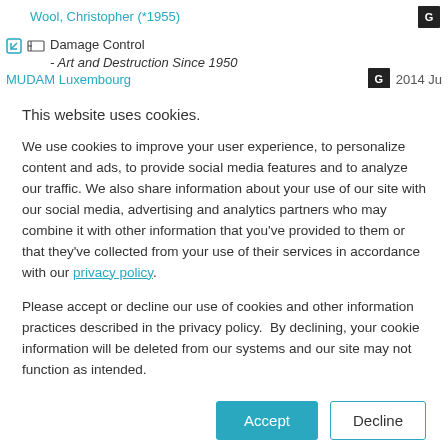Wool, Christopher (*1955)
Damage Control
- Art and Destruction Since 1950
MUDAM Luxembourg   G   2014 Ju
Ferguson, Russell (Curator)
This website uses cookies.
We use cookies to improve your user experience, to personalize content and ads, to provide social media features and to analyze our traffic. We also share information about your use of our site with our social media, advertising and analytics partners who may combine it with other information that you've provided to them or that they've collected from your use of their services in accordance with our privacy policy.
Please accept or decline our use of cookies and other information practices described in the privacy policy.  By declining, your cookie information will be deleted from our systems and our site may not function as intended.